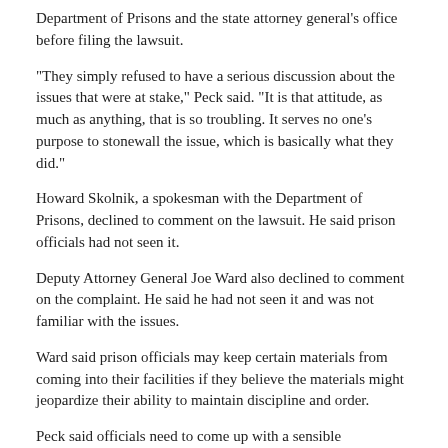Department of Prisons and the state attorney general's office before filing the lawsuit.
"They simply refused to have a serious discussion about the issues that were at stake," Peck said. "It is that attitude, as much as anything, that is so troubling. It serves no one's purpose to stonewall the issue, which is basically what they did."
Howard Skolnik, a spokesman with the Department of Prisons, declined to comment on the lawsuit. He said prison officials had not seen it.
Deputy Attorney General Joe Ward also declined to comment on the complaint. He said he had not seen it and was not familiar with the issues.
Ward said prison officials may keep certain materials from coming into their facilities if they believe the materials might jeopardize their ability to maintain discipline and order.
Peck said officials need to come up with a sensible justification for banning Prison Legal News from the state's prisons, "and they simply have not come up with such a justification."
"This is really about essentially the same question," he said. "It is